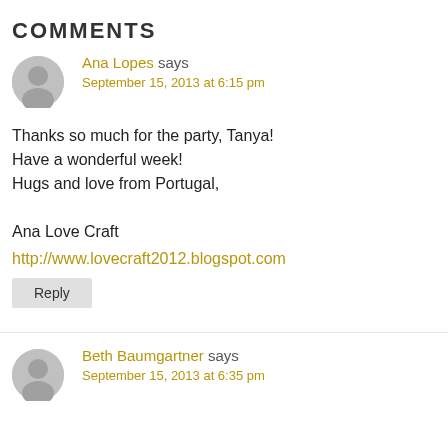COMMENTS
Ana Lopes says
September 15, 2013 at 6:15 pm
Thanks so much for the party, Tanya!
Have a wonderful week!
Hugs and love from Portugal,

Ana Love Craft
http://www.lovecraft2012.blogspot.com
Reply
Beth Baumgartner says
September 15, 2013 at 6:35 pm